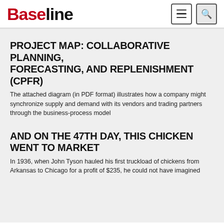Baseline
PROJECT MAP: COLLABORATIVE PLANNING, FORECASTING, AND REPLENISHMENT (CPFR)
The attached diagram (in PDF format) illustrates how a company might synchronize supply and demand with its vendors and trading partners through the business-process model
AND ON THE 47TH DAY, THIS CHICKEN WENT TO MARKET
In 1936, when John Tyson hauled his first truckload of chickens from Arkansas to Chicago for a profit of $235, he could not have imagined